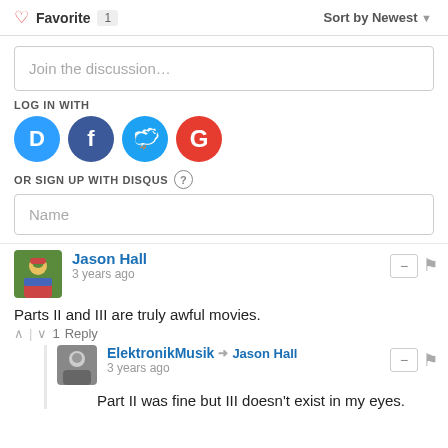Favorite 1   Sort by Newest
Join the discussion...
LOG IN WITH
[Figure (illustration): Social login icons: Disqus (blue), Facebook (dark blue), Twitter (light blue), Google (red)]
OR SIGN UP WITH DISQUS ?
Name
Jason Hall
3 years ago
Parts II and III are truly awful movies.
↑ | ↓ 1  Reply
ElektronikMusik → Jason Hall
3 years ago
Part II was fine but III doesn't exist in my eyes.